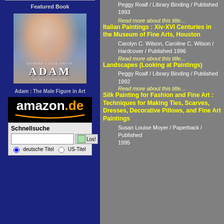Featured Book
[Figure (illustration): Book cover of 'Adam: The Male Figure in Art' by Edward Lucie-Smith showing a painted figure]
Adam : The Male Figure in Art
[Figure (logo): amazon.de logo with orange smile graphic]
Schnellsuche
deutsche Titel  US-Titel
Peggy Roalf / Library Binding / Published 1993
Read more about this title...
Italian Paintings : Xiv-XVI Centuries in the Museum of Fine Arts, Houston
Carolyn C. Wilson, Caroline C. Wilson / Hardcover / Published 1996
Read more about this title...
Landscapes (Looking at Paintings)
Peggy Roalf / Library Binding / Published 1992
Read more about this title...
Silk Painting for Fashion and Fine Art : Techniques for Making Ties, Scarves, Dresses, Decorative Pillows, and Fine Art Paintings
Susan Louise Moyer / Paperback / Published 1995